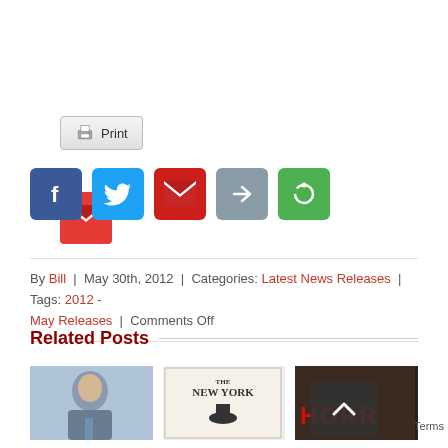[Figure (other): Print button with printer icon]
[Figure (other): Gmail red icon button]
[Figure (other): Social share buttons row: Facebook (blue f), Twitter (blue bird), Gmail (red M), Share (grey arrow), Refresh/other (green circular icon)]
By Bill | May 30th, 2012 | Categories: Latest News Releases | Tags: 2012 - May Releases | Comments Off
Related Posts
[Figure (photo): Photo of elderly man speaking into microphone]
[Figure (photo): The New Yorker magazine cover with illustration of man in top hat]
[Figure (photo): Partial image showing word HORROR on what appears to be a book or movie cover]